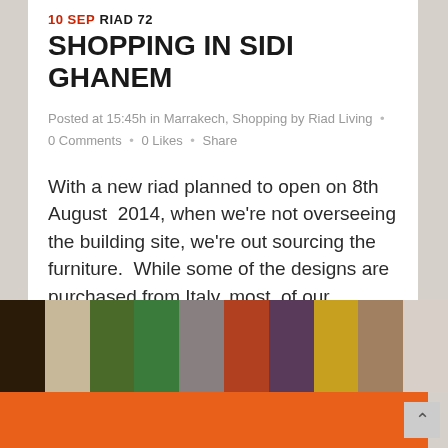10 SEP RIAD 72 SHOPPING IN SIDI GHANEM
Posted at 15:45h in Marrakech, Shopping by Riad Living  •  0 Comments  •  0 Likes  •  Share
With a new riad planned to open on 8th August  2014, when we're not overseeing the building site, we're out sourcing the furniture.  While some of the designs are purchased from Italy, most  of our...
[Figure (photo): A horizontal strip of multiple small photos showing various interior and lifestyle images including plants, food, decorative items, and architectural elements.]
[Figure (other): Orange footer bar at the bottom of the page.]